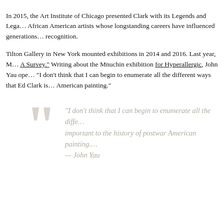In 2015, the Art Institute of Chicago presented Clark with its Legends and Legacy award, which recognizes African American artists whose longstanding careers have influenced generations and merit wider critical recognition.
Tilton Gallery in New York mounted exhibitions in 2014 and 2016. Last year, Mnuchin Gallery presented Ed Clark: A Survey. Writing about the Mnuchin exhibition for Hyperallergic, John Yau opened his review by saying: “I don’t think that I can begin to enumerate all the different ways that Ed Clark is important to the history of postwar American painting.”
“I don’t think that I can begin to enumerate all the different ways that Ed Clark is important to the history of postwar American painting.” — John Yau